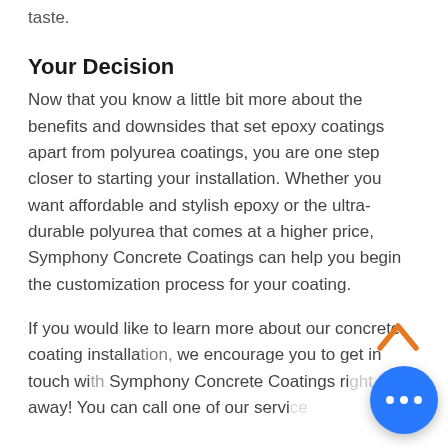taste.
Your Decision
Now that you know a little bit more about the benefits and downsides that set epoxy coatings apart from polyurea coatings, you are one step closer to starting your installation. Whether you want affordable and stylish epoxy or the ultra-durable polyurea that comes at a higher price, Symphony Concrete Coatings can help you begin the customization process for your coating.
If you would like to learn more about our concrete coating installation, we encourage you to get in touch with Symphony Concrete Coatings right away! You can call one of our service